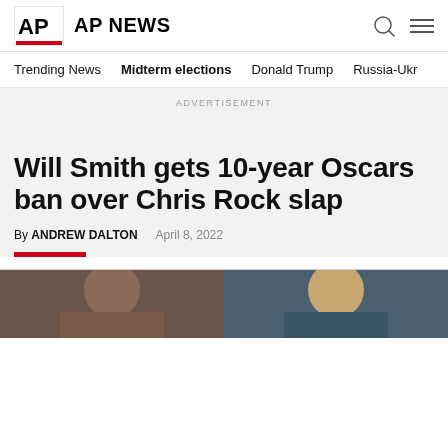AP NEWS
Trending News  Midterm elections  Donald Trump  Russia-Ukr
ADVERTISEMENT
Will Smith gets 10-year Oscars ban over Chris Rock slap
By ANDREW DALTON   April 8, 2022
[Figure (photo): Side-by-side photos of Will Smith and Chris Rock]